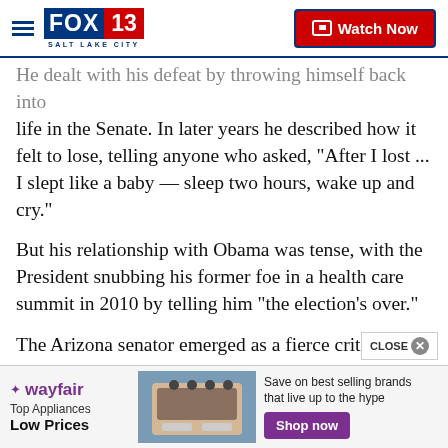FOX 13 SALT LAKE CITY | Watch Now
He dealt with his defeat by throwing himself back into life in the Senate. In later years he described how it felt to lose, telling anyone who asked, "After I lost ... I slept like a baby — sleep two hours, wake up and cry."
But his relationship with Obama was tense, with the President snubbing his former foe in a health care summit in 2010 by telling him "the election's over."
The Arizona senator emerged as a fierce critic of Obama's worldview, prompting Democrats to complain that McCain was the embodiment of a Republican
[Figure (screenshot): Wayfair advertisement banner showing Top Appliances Low Prices with a stove image and Shop now button]